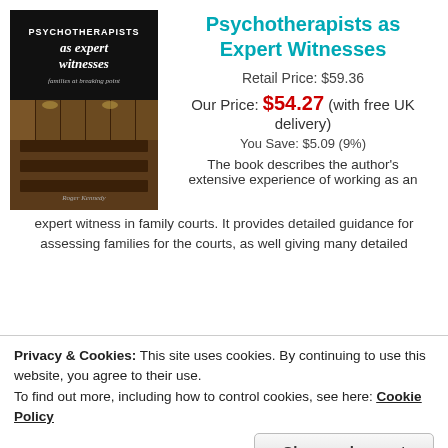[Figure (illustration): Book cover: 'Psychotherapists as Expert Witnesses – families at breaking point' by Roger Kennedy, showing a courtroom interior with dark wood paneling]
Psychotherapists as Expert Witnesses
Retail Price: $59.36
Our Price: $54.27 (with free UK delivery)
You Save: $5.09 (9%)
The book describes the author's extensive experience of working as an expert witness in family courts. It provides detailed guidance for assessing families for the courts, as well giving many detailed
Privacy & Cookies: This site uses cookies. By continuing to use this website, you agree to their use.
To find out more, including how to control cookies, see here: Cookie Policy
Close and accept
[Figure (illustration): Book cover: 'The Psychologist as Expert Witness' – partial view, dark red/maroon cover]
The Psychologist as Expert Witness